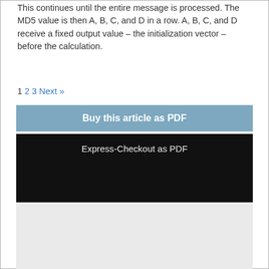This continues until the entire message is processed. The MD5 value is then A, B, C, and D in a row. A, B, C, and D receive a fixed output value – the initialization vector – before the calculation.
1 2 3 Next »
Buy this article as PDF
Express-Checkout as PDF
[Figure (other): Gray placeholder area below Express-Checkout block]
Price $2.95
(incl. VAT)
[Figure (other): PayPal checkout button with text 'Check out with PayPal' and tagline 'The safer, easier way to pay']